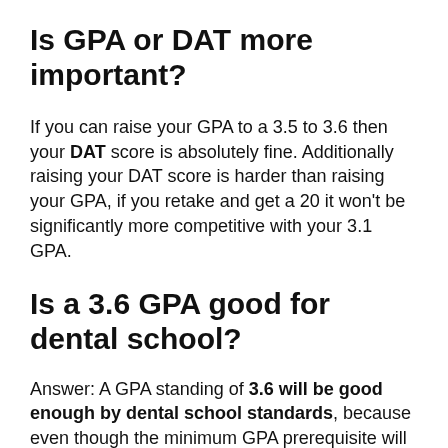Is GPA or DAT more important?
If you can raise your GPA to a 3.5 to 3.6 then your DAT score is absolutely fine. Additionally raising your DAT score is harder than raising your GPA, if you retake and get a 20 it won't be significantly more competitive with your 3.1 GPA.
Is a 3.6 GPA good for dental school?
Answer: A GPA standing of 3.6 will be good enough by dental school standards, because even though the minimum GPA prerequisite will differ between institutions,